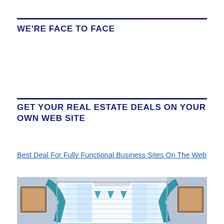WE'RE FACE TO FACE
GET YOUR REAL ESTATE DEALS ON YOUR OWN WEB SITE
Best Deal For Fully Functional Business Sites On The Web
[Figure (photo): Interior room photo showing a window with teal/blue decorative bunting and scarves, with framed pictures on the side walls and bright light coming through the window blinds.]